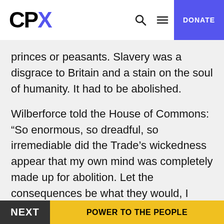CPX | DONATE
princes or peasants. Slavery was a disgrace to Britain and a stain on the soul of humanity. It had to be abolished.
Wilberforce told the House of Commons: “So enormous, so dreadful, so irremediable did the Trade’s wickedness appear that my own mind was completely made up for abolition. Let the consequences be what they would, I from this time determined that I would never rest until I had affected its abolition.”
NEXT | POWER TO THE PEOPLE